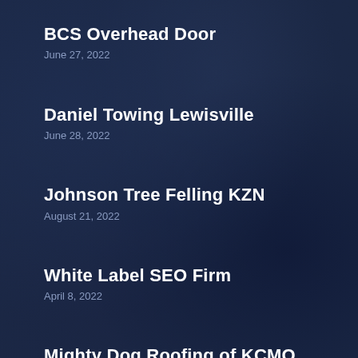BCS Overhead Door
June 27, 2022
Daniel Towing Lewisville
June 28, 2022
Johnson Tree Felling KZN
August 21, 2022
White Label SEO Firm
April 8, 2022
Mighty Dog Roofing of KCMO
May 25, 2022